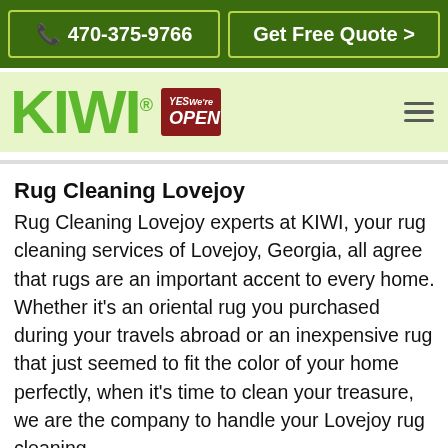470-375-9766 | Get Free Quote >
[Figure (logo): KIWI logo with registered trademark symbol, YES We're OPEN badge in red, and hamburger menu icon on light green background]
Rug Cleaning Lovejoy
Rug Cleaning Lovejoy experts at KIWI, your rug cleaning services of Lovejoy, Georgia, all agree that rugs are an important accent to every home. Whether it's an oriental rug you purchased during your travels abroad or an inexpensive rug that just seemed to fit the color of your home perfectly, when it's time to clean your treasure, we are the company to handle your Lovejoy rug cleaning